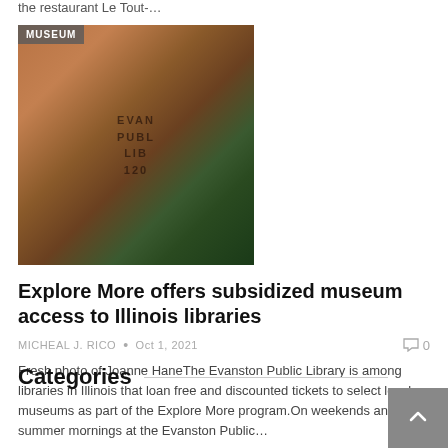the restaurant Le Tout-…
[Figure (photo): Photo of the Evanston Public Library building exterior with carved text, with a MUSEUM badge overlay in the top-left corner]
Explore More offers subsidized museum access to Illinois libraries
MICHEAL J. RICO  •  Oct 1, 2021   💬 0
Fresh photo of Joanne HaneThe Evanston Public Library is among libraries in Illinois that loan free and discounted tickets to select local museums as part of the Explore More program.On weekends and summer mornings at the Evanston Public…
Categories